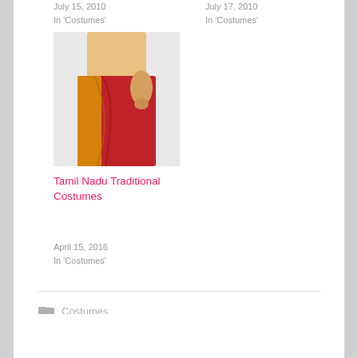July 15, 2010
In 'Costumes'
July 17, 2010
In 'Costumes'
[Figure (photo): Woman wearing a traditional red and orange Tamil Nadu saree, shown from mid-torso down]
Tamil Nadu Traditional Costumes
April 15, 2016
In 'Costumes'
Costumes
fashion